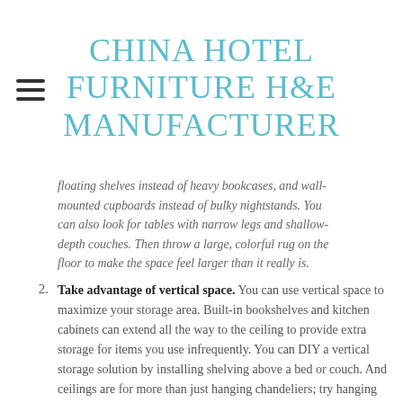CHINA HOTEL FURNITURE H&E MANUFACTURER
floating shelves instead of heavy bookcases, and wall-mounted cupboards instead of bulky nightstands. You can also look for tables with narrow legs and shallow-depth couches. Then throw a large, colorful rug on the floor to make the space feel larger than it really is.
2. Take advantage of vertical space. You can use vertical space to maximize your storage area. Built-in bookshelves and kitchen cabinets can extend all the way to the ceiling to provide extra storage for items you use infrequently. You can DIY a vertical storage solution by installing shelving above a bed or couch. And ceilings are for more than just hanging chandeliers; try hanging plants or a pots-and-pans rack from the kitchen ceiling.
3. Invest in multipurpose furniture. If you live in a tiny home, you can invest in multipurpose furniture that doubles as storage. On the storage side, consider a